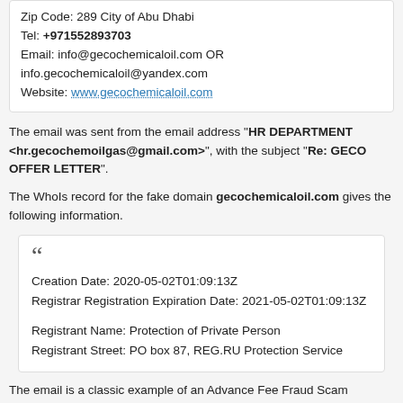Zip Code: 289 City of Abu Dhabi
Tel: +971552893703
Email: info@gecochemicaloil.com OR info.gecochemicaloil@yandex.com
Website: www.gecochemicaloil.com
The email was sent from the email address "HR DEPARTMENT <hr.gecochemoilgas@gmail.com>", with the subject "Re: GECO OFFER LETTER".
The WhoIs record for the fake domain gecochemicaloil.com gives the following information.
Creation Date: 2020-05-02T01:09:13Z
Registrar Registration Expiration Date: 2021-05-02T01:09:13Z

Registrant Name: Protection of Private Person
Registrant Street: PO box 87, REG.RU Protection Service
The email is a classic example of an Advance Fee Fraud Scam